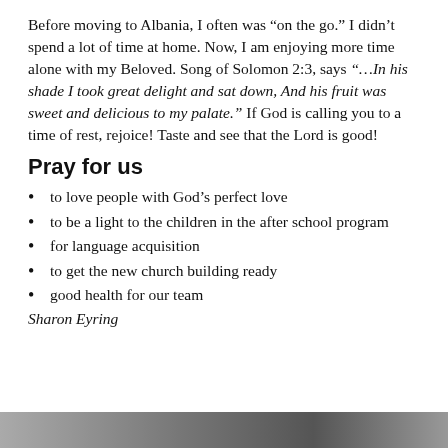Before moving to Albania, I often was “on the go.” I didn’t spend a lot of time at home. Now, I am enjoying more time alone with my Beloved. Song of Solomon 2:3, says “…In his shade I took great delight and sat down, And his fruit was sweet and delicious to my palate.” If God is calling you to a time of rest, rejoice! Taste and see that the Lord is good!
Pray for us
to love people with God’s perfect love
to be a light to the children in the after school program
for language acquisition
to get the new church building ready
good health for our team
Sharon Eyring
[Figure (photo): Partial photo strip visible at the bottom of the page]